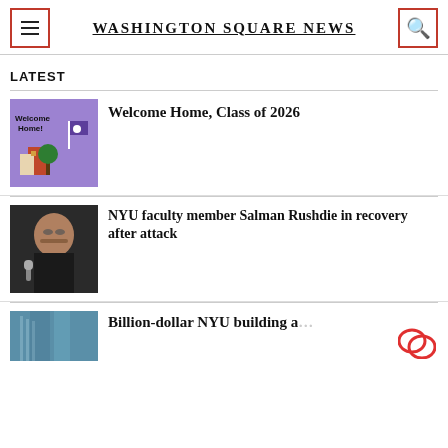Washington Square News
LATEST
[Figure (illustration): Welcome Home Class of 2026 NYU promotional illustration with purple background, NYU flag, and campus building]
Welcome Home, Class of 2026
[Figure (photo): Photo of Salman Rushdie, a man with glasses in a dark shirt speaking into a microphone]
NYU faculty member Salman Rushdie in recovery after attack
[Figure (photo): Photo of a tall glass NYU building exterior]
Billion-dollar NYU building a…